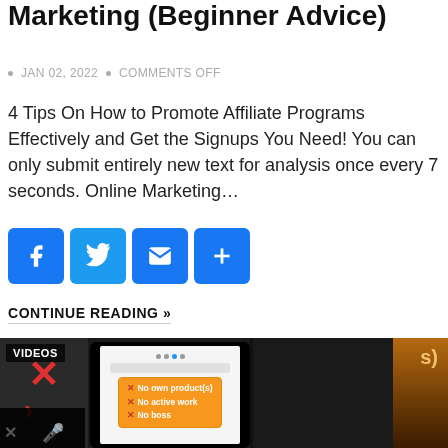Marketing (Beginner Advice)
JAN 02, 2022  •  COMMENTS OFF
4 Tips On How to Promote Affiliate Programs Effectively and Get the Signups You Need! You can only submit entirely new text for analysis once every 7 seconds. Online Marketing…
[Figure (other): Social sharing buttons: Facebook, Twitter, Email, and More (+)]
CONTINUE READING »
[Figure (screenshot): Video thumbnail showing a phone screen with an orange popup listing: No own product(s), No active work, No boss. Red X marks on the left side. Dark background with 'VIDEOS' label in top left corner.]